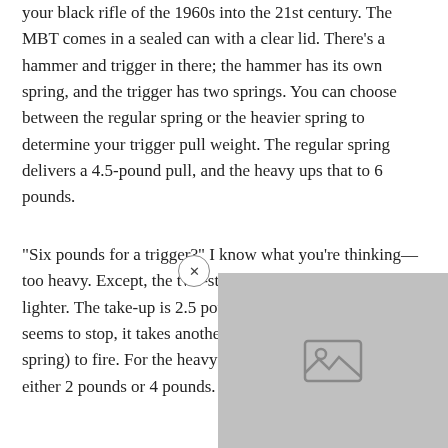your black rifle of the 1960s into the 21st century. The MBT comes in a sealed can with a clear lid. There’s a hammer and trigger in there; the hammer has its own spring, and the trigger has two springs. You can choose between the regular spring or the heavier spring to determine your trigger pull weight. The regular spring delivers a 4.5-pound pull, and the heavy ups that to 6 pounds.
“Six pounds for a trigger?” I know what you’re thinking—too heavy. Except, the two-stage design makes it feel lighter. The take-up is 2.5 pounds. Then, once the trigger seems to stop, it takes another 2 pounds (with the light spring) to fire. For the heavy spring, that’s 4 pounds. So either 2 pounds or 4 pounds. Clea
[Figure (other): Partially visible image placeholder (grey box with image icon), overlaid on the bottom-right of the page with a close button (x) to its upper-left.]